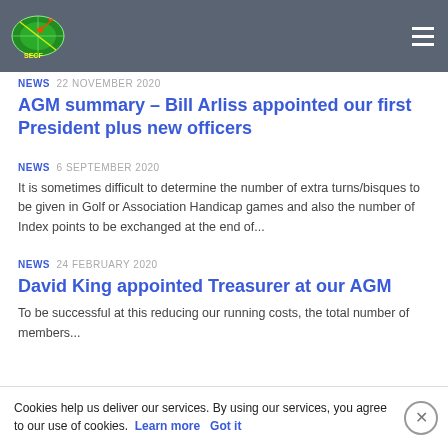SECF logo and navigation header
NEWS  22 NOVEMBER 2020
AGM summary – Bill Arliss appointed our first President plus new officers
NEWS  6 SEPTEMBER 2020
It is sometimes difficult to determine the number of extra turns/bisques to be given in Golf or Association Handicap games and also the number of Index points to be exchanged at the end of...
NEWS  24 FEBRUARY 2020
David King appointed Treasurer at our AGM
To be successful at this reducing our running costs, the total number of members...
Cookies help us deliver our services. By using our services, you agree to our use of cookies.  Learn more  Got it